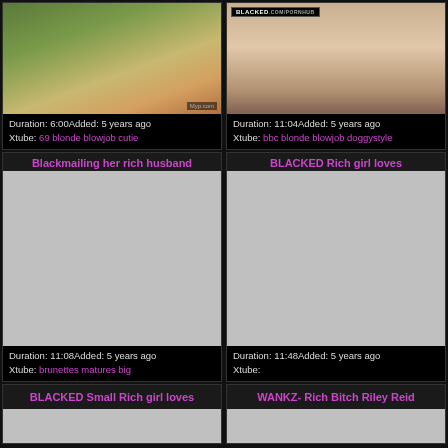[Figure (photo): Video thumbnail top left - outdoor scene]
Duration: 6:00Added: 5 years ago Xtube: 69 blonde blowjob cutie
[Figure (photo): Video thumbnail top right - BLACKED.com watermark visible]
Duration: 11:04Added: 5 years ago Xtube: bbc blonde blowjob doggystyle
Blackmailing her rich husband
[Figure (photo): Gray placeholder thumbnail]
Duration: 11:08Added: 5 years ago Xtube: brunettes matures big
BLACKED Rich girl loves
[Figure (photo): Gray placeholder thumbnail]
Duration: 11:48Added: 5 years ago Xtube:
BLACKED Small Rich girl loves
WANKZ- Rich Bitch Riley Reid